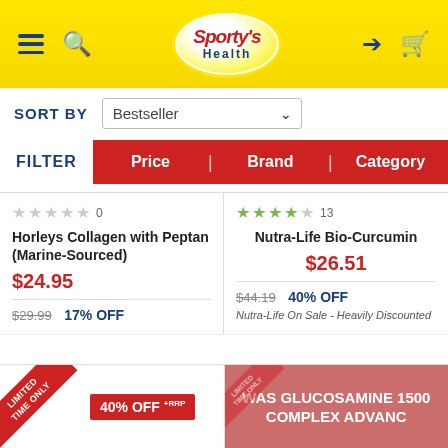Sporty's Health
SORT BY  Bestseller
FILTER  Price | Brand | Category
Horleys Collagen with Peptan (Marine-Sourced) — 0 stars — $24.95 — was $29.99 — 17% OFF
Nutra-Life Bio-Curcumin — 13 reviews — $26.51 — was $44.19 — 40% OFF — Nutra-Life On Sale - Heavily Discounted
[Figure (screenshot): Limited Time Only banner with 40% OFF badge on product card]
[Figure (screenshot): WAS GLUCOSAMINE 1500 COMPLEX ADVANC overlay with Limited Time Only badge]